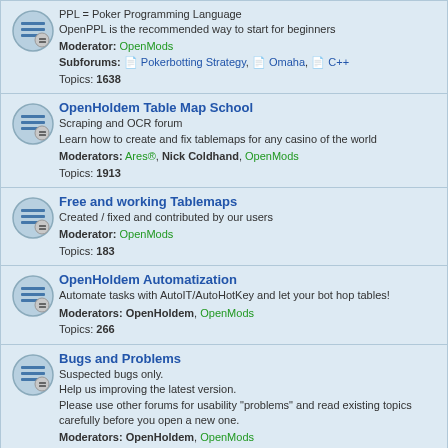PPL = Poker Programming Language. OpenPPL is the recommended way to start for beginners. Moderator: OpenMods. Subforums: Pokerbotting Strategy, Omaha, C++. Topics: 1638
OpenHoldem Table Map School. Scraping and OCR forum. Learn how to create and fix tablemaps for any casino of the world. Moderators: Ares®, Nick Coldhand, OpenMods. Topics: 1913
Free and working Tablemaps. Created / fixed and contributed by our users. Moderator: OpenMods. Topics: 183
OpenHoldem Automatization. Automate tasks with AutoIT/AutoHotKey and let your bot hop tables! Moderators: OpenHoldem, OpenMods. Topics: 266
Bugs and Problems. Suspected bugs only. Help us improving the latest version. Please use other forums for usability "problems" and read existing topics carefully before you open a new one. Moderators: OpenHoldem, OpenMods. Subforums: OpenHoldem Confirmed Bugs, Fixed in next release. Topics: 1872
Suggestions and Development. Suggestions, contributions and discussions on future developments. Moderator: OpenMods. Subforum: OpenHoldem Suggestions. Topics: 70